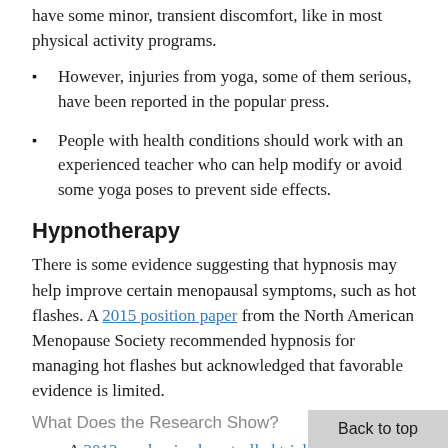have some minor, transient discomfort, like in most physical activity programs.
However, injuries from yoga, some of them serious, have been reported in the popular press.
People with health conditions should work with an experienced teacher who can help modify or avoid some yoga poses to prevent side effects.
Hypnotherapy
There is some evidence suggesting that hypnosis may help improve certain menopausal symptoms, such as hot flashes. A 2015 position paper from the North American Menopause Society recommended hypnosis for managing hot flashes but acknowledged that favorable evidence is limited.
What Does the Research Show?
A 2013 randomized controlled trial in postmenopausal women found that clinical hypnosis